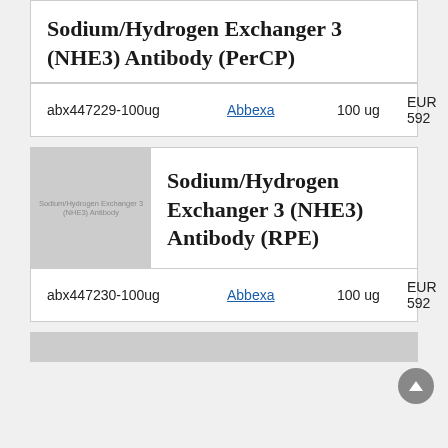Sodium/Hydrogen Exchanger 3 (NHE3) Antibody (PerCP)
| SKU | Supplier | Quantity | Price |
| --- | --- | --- | --- |
| abx447229-100ug | Abbexa | 100 ug | EUR 592 |
[Figure (photo): Placeholder image for Sodium/Hydrogen Exchanger 3 (NHE3) Antibody product]
Sodium/Hydrogen Exchanger 3 (NHE3) Antibody (RPE)
| SKU | Supplier | Quantity | Price |
| --- | --- | --- | --- |
| abx447230-100ug | Abbexa | 100 ug | EUR 592 |